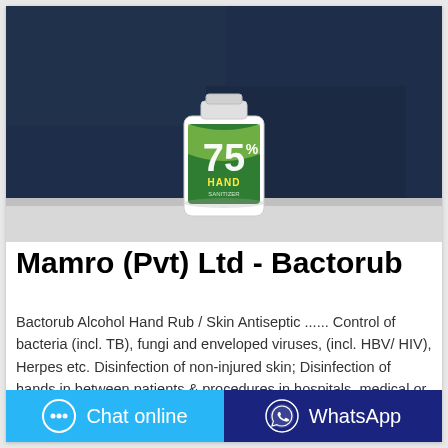[Figure (photo): A small hand sanitizer bottle with a green and yellow label showing '75%' in large numbers and 'HAND' text, placed on a white surface against a dark navy blue background.]
Mamro (Pvt) Ltd - Bactorub
Bactorub Alcohol Hand Rub / Skin Antiseptic ...... Control of bacteria (incl. TB), fungi and enveloped viruses, (incl. HBV/ HIV), Herpes etc. Disinfection of non-injured skin; Disinfection of hands in between patients & procedures in hospitals, medical or dental
Chat online
WhatsApp